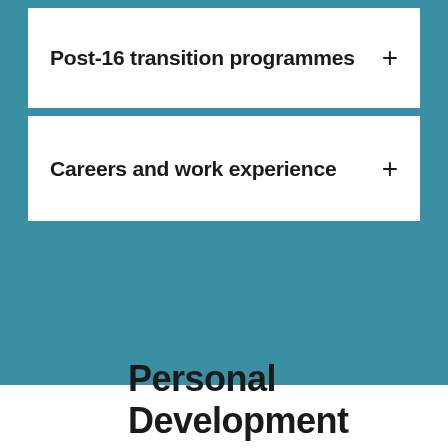Post-16 transition programmes +
Careers and work experience +
Personal Development Programmes